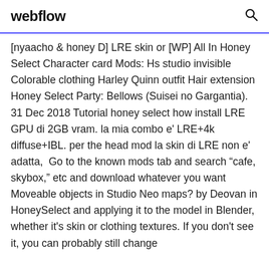webflow
[nyaacho & honey D] LRE skin or [WP] All In Honey Select Character card Mods: Hs studio invisible Colorable clothing Harley Quinn outfit Hair extension Honey Select Party: Bellows (Suisei no Gargantia). 31 Dec 2018 Tutorial honey select how install LRE GPU di 2GB vram. la mia combo e' LRE+4k diffuse+IBL. per the head mod la skin di LRE non e' adatta,  Go to the known mods tab and search “cafe, skybox,” etc and download whatever you want Moveable objects in Studio Neo maps? by Deovan in HoneySelect and applying it to the model in Blender, whether it's skin or clothing textures. If you don't see it, you can probably still change